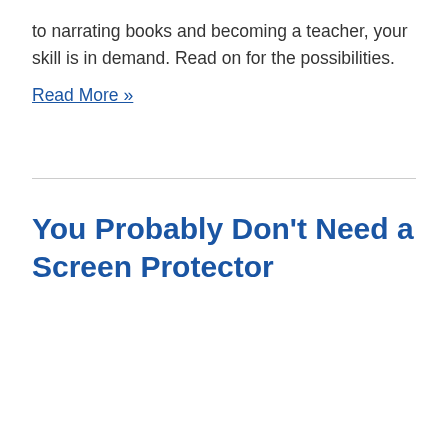to narrating books and becoming a teacher, your skill is in demand. Read on for the possibilities.
Read More »
You Probably Don't Need a Screen Protector